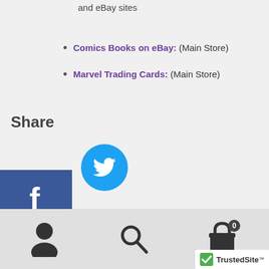and eBay sites
Comics Books on eBay: (Main Store)
Marvel Trading Cards: (Main Store)
Share
[Figure (other): Social share buttons: Facebook (blue square), Pinterest (red square with count 1), Twitter (blue square) on left side bar; Twitter bird icon circle inline]
lated products
[Figure (other): Footer navigation bar with person icon, search icon, shopping cart icon with badge 0, and TrustedSite badge in bottom right corner]